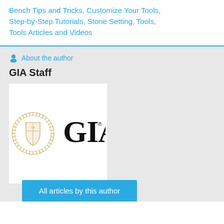Bench Tips and Tricks, Customize Your Tools, Step-by-Step Tutorials, Stone Setting, Tools, Tools Articles and Videos
About the author
GIA Staff
[Figure (logo): GIA logo — circular gold seal on the left with 'GIA' text in large serif font on the right, on a white background]
All articles by this author